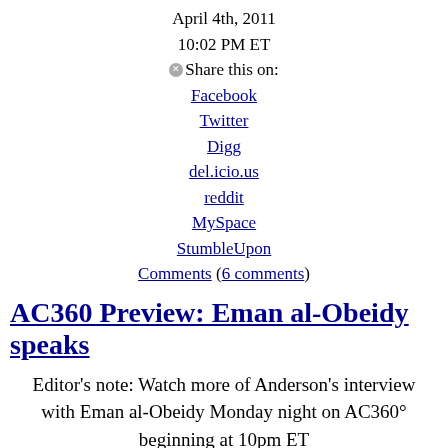April 4th, 2011
10:02 PM ET
Share this on:
Facebook
Twitter
Digg
del.icio.us
reddit
MySpace
StumbleUpon
Comments (6 comments)
AC360 Preview: Eman al-Obeidy speaks
Editor's note: Watch more of Anderson's interview with Eman al-Obeidy Monday night on AC360° beginning at 10pm ET
Filed under: 360° Radar • 360º Follow
April 4th, 2011
09:45 PM ET
Share this on:
Facebook